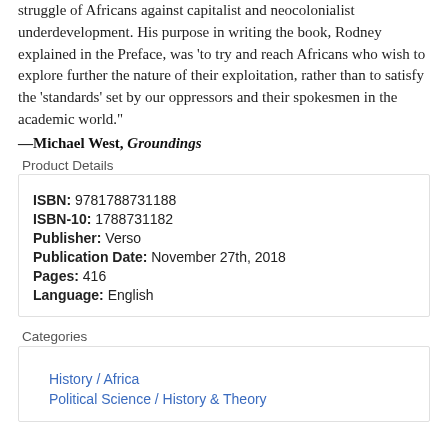struggle of Africans against capitalist and neocolonialist underdevelopment. His purpose in writing the book, Rodney explained in the Preface, was 'to try and reach Africans who wish to explore further the nature of their exploitation, rather than to satisfy the 'standards' set by our oppressors and their spokesmen in the academic world."
—Michael West, Groundings
Product Details
| ISBN: | 9781788731188 |
| ISBN-10: | 1788731182 |
| Publisher: | Verso |
| Publication Date: | November 27th, 2018 |
| Pages: | 416 |
| Language: | English |
Categories
History / Africa
Political Science / History & Theory